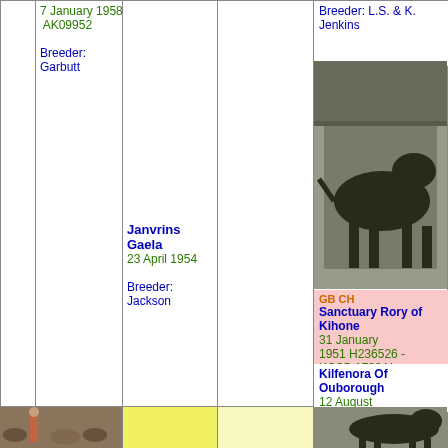7 January 1958
AK09952
Breeder: Garbutt
Janvrins Gaela
23 April 1954
Breeder: Jackson
Breeder: L.S. & K. Jenkins
[Figure (photo): Black and white photo of a dog standing sideways]
GB CH
Sanctuary Rory of Kihone
31 January 1951 H236526 - KCSB 1733AL
Lifespan: 9 years, 7 months
Breeder: J. McGregor
Kilfenora Of Ouborough
12 August 1949 KCSB 77614
Breeder: J. V. Ram
[Figure (photo): Photo of a person with dogs outdoors]
[Figure (photo): Black and white photo of a dog standing]